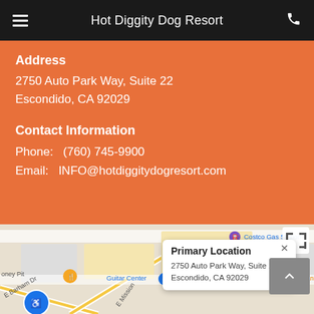Hot Diggity Dog Resort
Address
2750 Auto Park Way, Suite 22
Escondido, CA 92029
Contact Information
Phone:   (760) 745-9900
Email:   INFO@hotdiggitydogresort.com
[Figure (map): Google Maps view showing the area around Costco Wholesale, Costco Gas Station, Guitar Center, Manna BBQ, E Barham Dr, E Mission, with a popup showing Primary Location at 2750 Auto Park Way, Suite 22, Escondido, CA 92029]